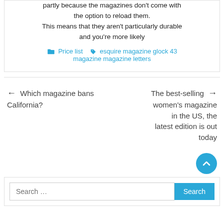partly because the magazines don't come with the option to reload them.
This means that they aren't particularly durable and you're more likely
Price list  esquire magazine glock 43 magazine magazine letters
← Which magazine bans California?
The best-selling → women's magazine in the US, the latest edition is out today
Search …